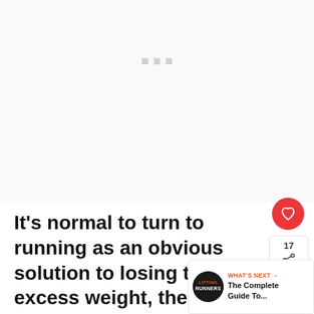[Figure (other): Large white/light gray placeholder image area at the top of the page with three small gray loading dots in the upper middle portion]
It's normal to turn to running as an obvious solution to losing that excess weight, then find yourself frustrated because you're still gaining weight, even though you're sticking to the
[Figure (other): Social share widget showing a red heart/like button with count 17 and a share icon panel on the right side]
[Figure (other): What's Next promo widget in bottom-right corner showing Lifting Runners logo and text 'WHAT'S NEXT → The Complete Guide To...']